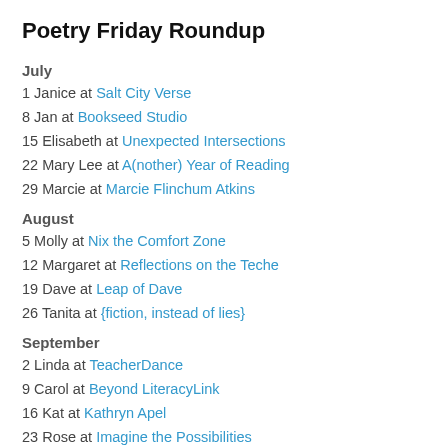Poetry Friday Roundup
July
1 Janice at Salt City Verse
8 Jan at Bookseed Studio
15 Elisabeth at Unexpected Intersections
22 Mary Lee at A(nother) Year of Reading
29 Marcie at Marcie Flinchum Atkins
August
5 Molly at Nix the Comfort Zone
12 Margaret at Reflections on the Teche
19 Dave at Leap of Dave
26 Tanita at {fiction, instead of lies}
September
2 Linda at TeacherDance
9 Carol at Beyond LiteracyLink
16 Kat at Kathryn Apel
23 Rose at Imagine the Possibilities